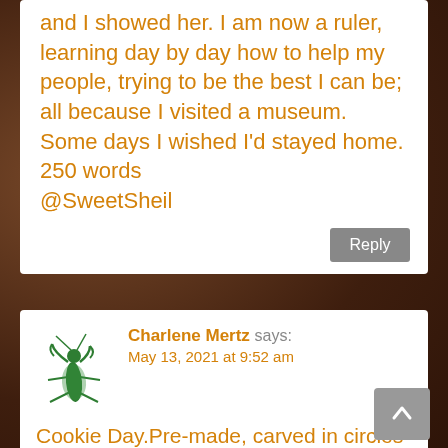and I showed her. I am now a ruler, learning day by day how to help my people, trying to be the best I can be; all because I visited a museum. Some days I wished I'd stayed home.
250 words
@SweetSheil
Reply
Charlene Mertz says:
May 13, 2021 at 9:52 am
Cookie Day.Pre-made, carved in circles from a tube.
Mother was reluctant to let her